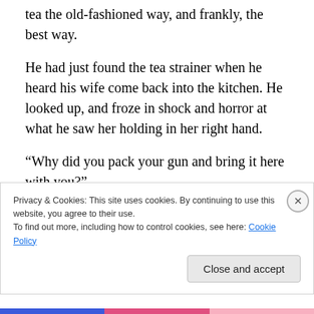tea the old-fashioned way, and frankly, the best way.
He had just found the tea strainer when he heard his wife come back into the kitchen. He looked up, and froze in shock and horror at what he saw her holding in her right hand.
“Why did you pack your gun and bring it here with you?”
Katie hated the feel of the weapon in her hand but seeing it had chilled her more than the cold outside ever could. Just the thought of him with it had made her risk her life
Privacy & Cookies: This site uses cookies. By continuing to use this website, you agree to their use.
To find out more, including how to control cookies, see here: Cookie Policy
Close and accept